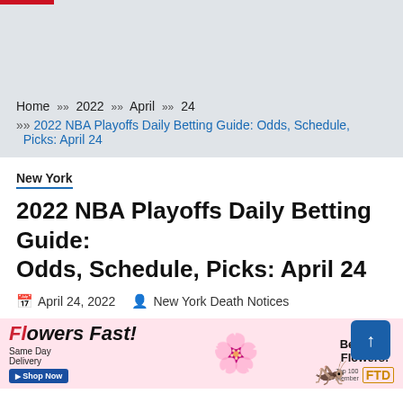Home » 2022 » April » 24 » 2022 NBA Playoffs Daily Betting Guide: Odds, Schedule, Picks: April 24
New York
2022 NBA Playoffs Daily Betting Guide: Odds, Schedule, Picks: April 24
April 24, 2022  New York Death Notices
[Figure (infographic): Flowers Fast advertisement banner with red rose, pink flowers, FTD logo, Send Beautiful Flowers text, Same Day Delivery and Shop Now button]